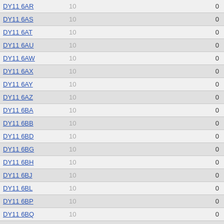| Postcode |  |  |
| --- | --- | --- |
| DY11 6AR | 10 | 0 |
| DY11 6AS | 10 | 0 |
| DY11 6AT | 10 | 0 |
| DY11 6AU | 10 | 0 |
| DY11 6AW | 10 | 0 |
| DY11 6AX | 10 | 0 |
| DY11 6AY | 10 | 0 |
| DY11 6AZ | 10 | 0 |
| DY11 6BA | 10 | 0 |
| DY11 6BB | 10 | 0 |
| DY11 6BD | 10 | 0 |
| DY11 6BG | 10 | 0 |
| DY11 6BH | 10 | 0 |
| DY11 6BJ | 10 | 0 |
| DY11 6BL | 10 | 0 |
| DY11 6BP | 10 | 0 |
| DY11 6BQ | 10 | 0 |
| DY11 6BS | 10 | Bewdley Hill | 0 |